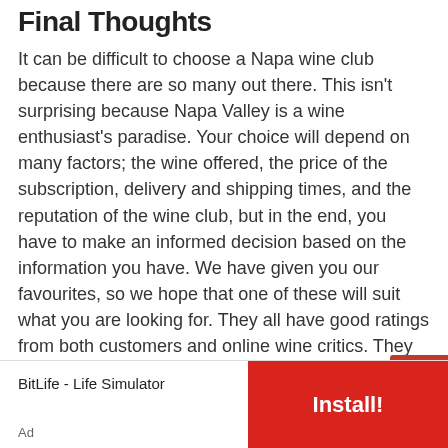Final Thoughts
It can be difficult to choose a Napa wine club because there are so many out there. This isn't surprising because Napa Valley is a wine enthusiast's paradise. Your choice will depend on many factors; the wine offered, the price of the subscription, delivery and shipping times, and the reputation of the wine club, but in the end, you have to make an informed decision based on the information you have. We have given you our favourites, so we hope that one of these will suit what you are looking for. They all have good ratings from both customers and online wine critics. They also give you some flexibility with your subscription and perks which are always a bonus.
BitLife - Life Simulator
Install!
Ad